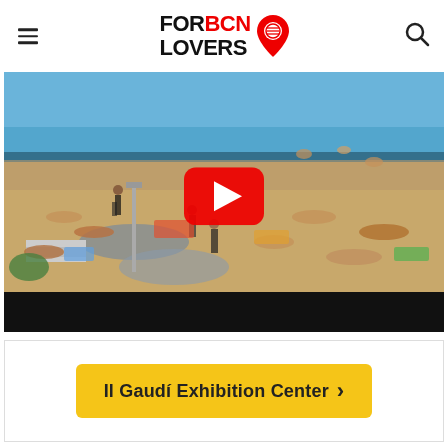FOR BCN LOVERS
[Figure (screenshot): YouTube video thumbnail showing a crowded Barcelona beach with people sunbathing and swimming, with a large red YouTube play button overlay in the center]
Il Gaudí Exhibition Center ›